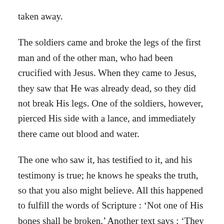taken away.
The soldiers came and broke the legs of the first man and of the other man, who had been crucified with Jesus. When they came to Jesus, they saw that He was already dead, so they did not break His legs. One of the soldiers, however, pierced His side with a lance, and immediately there came out blood and water.
The one who saw it, has testified to it, and his testimony is true; he knows he speaks the truth, so that you also might believe. All this happened to fulfill the words of Scripture : ‘Not one of His bones shall be broken.’ Another text says : ‘They shall look on Him whom they have pierced.’
After this, Joseph of Arimathea approached Pilate, for he was a disciple of Jesus, though secretly, for fear of the Jews.